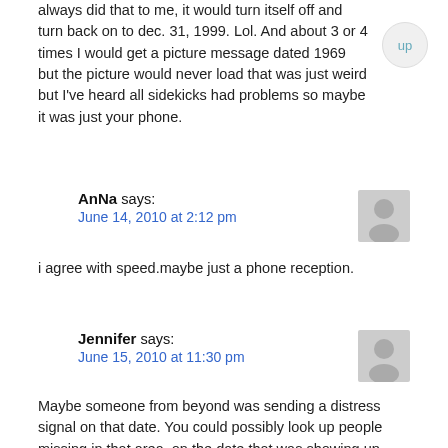always did that to me, it would turn itself off and turn back on to dec. 31, 1999. Lol. And about 3 or 4 times I would get a picture message dated 1969 but the picture would never load that was just weird but I've heard all sidekicks had problems so maybe it was just your phone.
AnNa says:
June 14, 2010 at 2:12 pm
i agree with speed.maybe just a phone reception.
Jennifer says:
June 15, 2010 at 11:30 pm
Maybe someone from beyond was sending a distress signal on that date. You could possibly look up people missing in that area, on the date that was showing up.